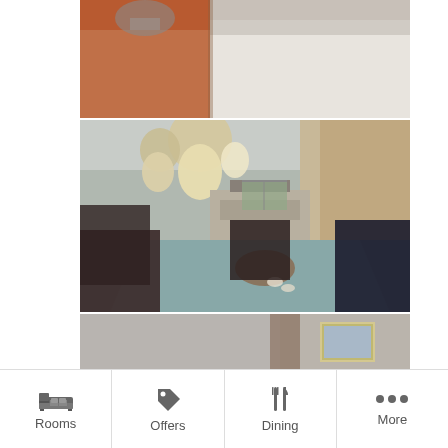[Figure (photo): Hotel room photo showing bedside table with orange/red surface and white bed linens]
[Figure (photo): Hotel room/apartment interior with pendant lights, dining table with dark chairs, kitchen area in background]
[Figure (photo): Hotel room interior showing ceiling, curtains, and framed artwork on wall]
Rooms   Offers   Dining   More